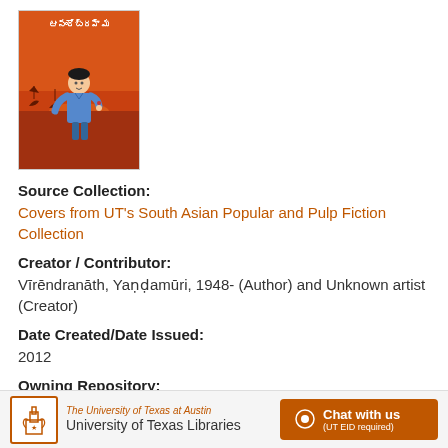[Figure (illustration): Book cover with orange/red background showing a boy in blue shirt, with Telugu script title at top and boats in background]
Source Collection:
Covers from UT's South Asian Popular and Pulp Fiction Collection
Creator / Contributor:
Vīrēndranāth, Yaṇḍamūri, 1948- (Author) and Unknown artist (Creator)
Date Created/Date Issued:
2012
Owning Repository:
University of Texas Libraries, The University of Texas at
The University of Texas at Austin University of Texas Libraries | Chat with us (UT EID required)